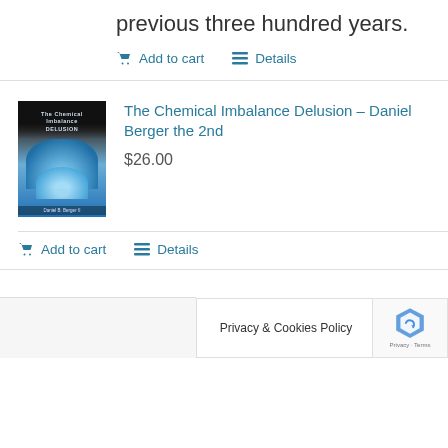previous three hundred years.
Add to cart   Details
[Figure (photo): Book cover for The Chemical Imbalance Delusion showing gloved hands holding a glowing substance, with dark top section]
The Chemical Imbalance Delusion – Daniel Berger the 2nd
$26.00
Add to cart   Details
Privacy & Cookies Policy